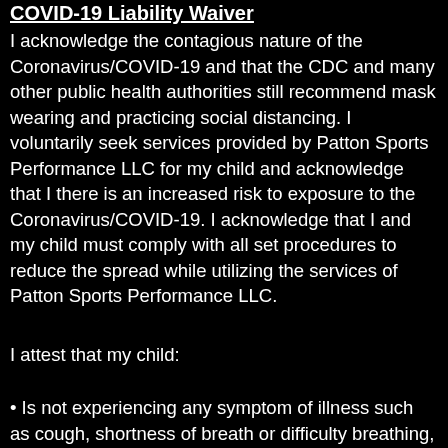COVID-19 Liability Waiver
I acknowledge the contagious nature of the Coronavirus/COVID-19 and that the CDC and many other public health authorities still recommend mask wearing and practicing social distancing. I voluntarily seek services provided by Patton Sports Performance LLC for my child and acknowledge that I there is an increased risk to exposure to the Coronavirus/COVID-19. I acknowledge that I and my child must comply with all set procedures to reduce the spread while utilizing the services of Patton Sports Performance LLC.
I attest that my child:
• Is not experiencing any symptom of illness such as cough, shortness of breath or difficulty breathing, fever, chills, repeated shaking with chills, muscle pain, headache, sore throat, or